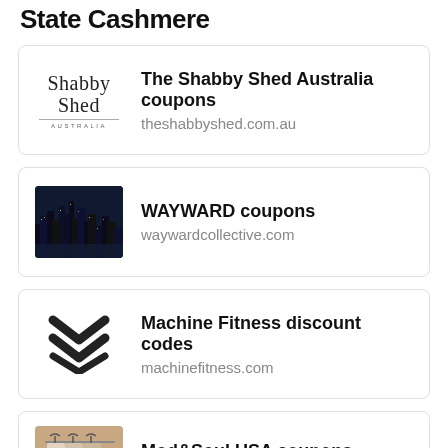State Cashmere
The Shabby Shed Australia coupons - theshabbyshed.com.au
WAYWARD coupons - waywardcollective.com
Machine Fitness discount codes - machinefitness.com
Mod&Soul USA coupons - modandsoul.com